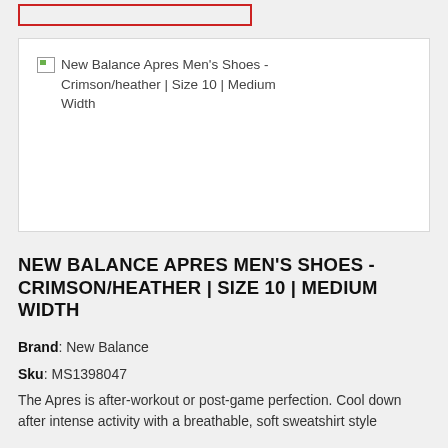[Figure (other): Broken image placeholder for New Balance Apres Men's Shoes - Crimson/heather | Size 10 | Medium Width product photo]
NEW BALANCE APRES MEN'S SHOES - CRIMSON/HEATHER | SIZE 10 | MEDIUM WIDTH
Brand: New Balance
Sku: MS1398047
The Apres is after-workout or post-game perfection. Cool down after intense activity with a breathable, soft sweatshirt style